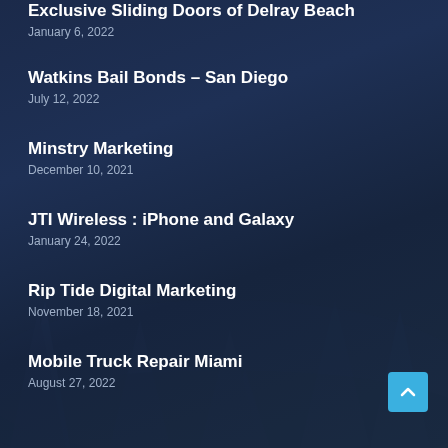Exclusive Sliding Doors of Delray Beach
January 6, 2022
Watkins Bail Bonds – San Diego
July 12, 2022
Minstry Marketing
December 10, 2021
JTI Wireless : iPhone and Galaxy
January 24, 2022
Rip Tide Digital Marketing
November 18, 2021
Mobile Truck Repair Miami
August 27, 2022